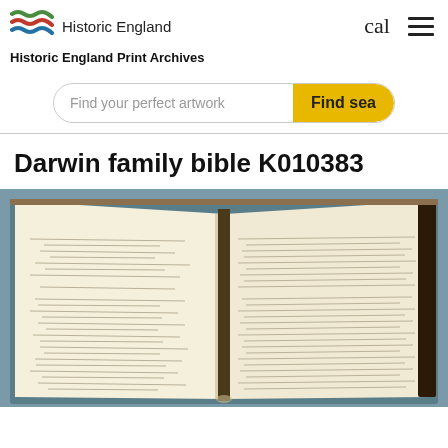Historic England | cal | ☰
Historic England Print Archives
Find your perfect artwork | Find sea
Darwin family bible K010383
[Figure (photo): Open bible showing two pages of handwritten family records in cursive script, photographed at an angle on a grey background. The pages are cream/yellowed with dense handwritten entries.]